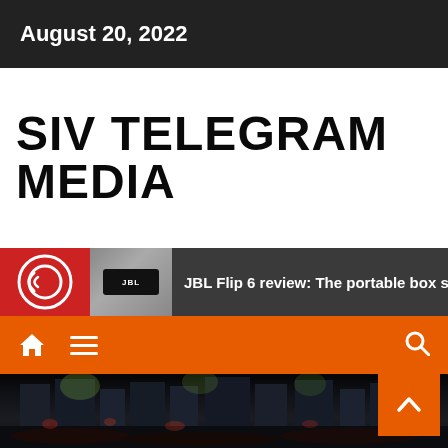August 20, 2022
SIV TELEGRAM MEDIA
JBL Flip 6 review: The portable box surprises
[Figure (screenshot): Website navigation bar with home icon, hamburger menu, and search icon on orange background]
[Figure (photo): Night scene of a city street with crowd protest, buildings illuminated, street lights visible]